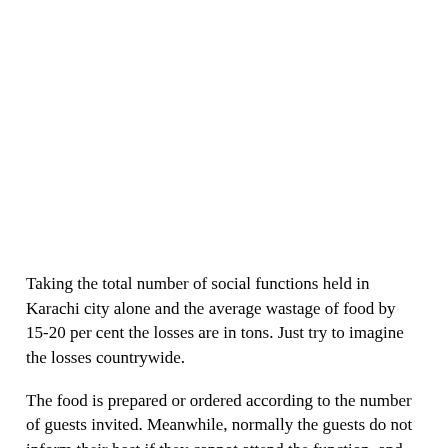Taking the total number of social functions held in Karachi city alone and the average wastage of food by 15-20 per cent the losses are in tons. Just try to imagine the losses countrywide.
The food is prepared or ordered according to the number of guests invited. Meanwhile, normally the guests do not inform their host if they cannot attend the function, and hence the food